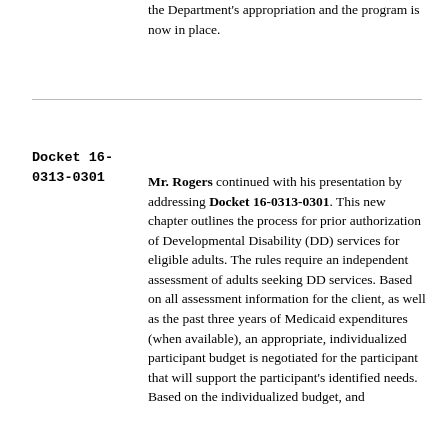the Department's appropriation and the program is now in place.
Docket 16-0313-0301  Mr. Rogers continued with his presentation by addressing Docket 16-0313-0301. This new chapter outlines the process for prior authorization of Developmental Disability (DD) services for eligible adults. The rules require an independent assessment of adults seeking DD services. Based on all assessment information for the client, as well as the past three years of Medicaid expenditures (when available), an appropriate, individualized participant budget is negotiated for the participant that will support the participant's identified needs. Based on the individualized budget, and